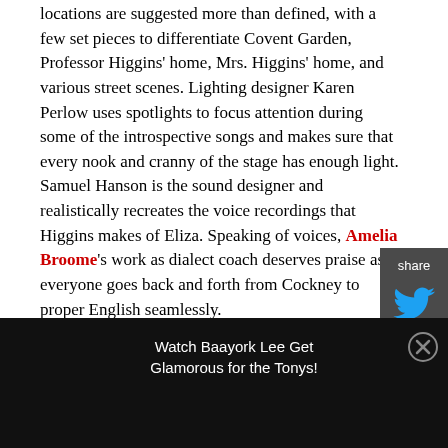Employing an abstract concept, the different locations are suggested more than defined, with a few set pieces to differentiate Covent Garden, Professor Higgins' home, Mrs. Higgins' home, and various street scenes. Lighting designer Karen Perlow uses spotlights to focus attention during some of the introspective songs and makes sure that every nook and cranny of the stage has enough light. Samuel Hanson is the sound designer and realistically recreates the voice recordings that Higgins makes of Eliza. Speaking of voices, Amelia Broome's work as dialect coach deserves praise as everyone goes back and forth from Cockney to proper English seamlessly.
[Figure (infographic): Share sidebar with Twitter and Facebook icons on dark grey background]
Watch Baayork Lee Get Glamorous for the Tonys!